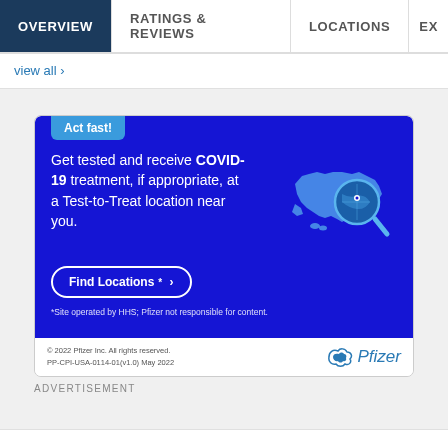OVERVIEW | RATINGS & REVIEWS | LOCATIONS | EX
view all ›
[Figure (infographic): Pfizer COVID-19 advertisement. Blue background card with 'Act fast!' tag, text 'Get tested and receive COVID-19 treatment, if appropriate, at a Test-to-Treat location near you.', a 'Find Locations* ›' button, US map illustration with magnifying glass, disclaimer '*Site operated by HHS; Pfizer not responsible for content.', footer with '© 2022 Pfizer Inc. All rights reserved. PP-CPI-USA-0114-01(v1.0) May 2022' and Pfizer logo.]
ADVERTISEMENT